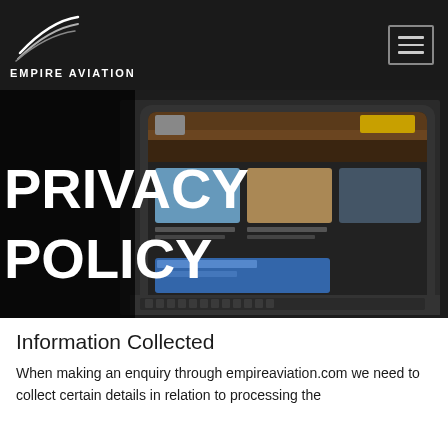EMPIRE AVIATION
[Figure (screenshot): Hero banner showing a tablet device displaying the Empire Aviation website, with large white text overlaid reading PRIVACY POLICY on a dark background]
Information Collected
When making an enquiry through empireaviation.com we need to collect certain details in relation to processing the